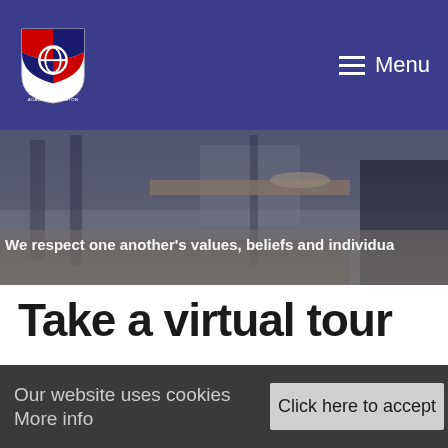[Figure (logo): Landau Forte Academy Amington shield logo with red and blue quarters and circular emblem]
Menu
[Figure (photo): Classroom scene with students at desks, blurred background]
We respect one another's values, beliefs and individua
Take a virtual tour
[Figure (screenshot): Landau Forte Academy Amington Virtual Tour video thumbnail with circular logo]
Landau Forte Academy Amington Virtual Tour
Our website uses cookies More info
Click here to accept